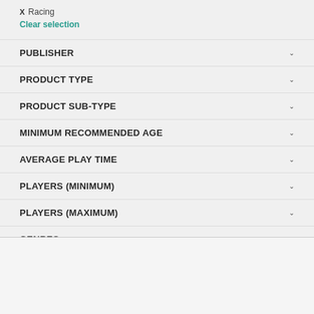X Racing
Clear selection
PUBLISHER
PRODUCT TYPE
PRODUCT SUB-TYPE
MINIMUM RECOMMENDED AGE
AVERAGE PLAY TIME
PLAYERS (MINIMUM)
PLAYERS (MAXIMUM)
GENRES